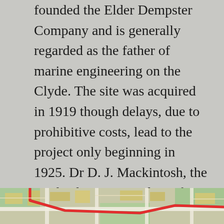founded the Elder Dempster Company and is generally regarded as the father of marine engineering on the Clyde. The site was acquired in 1919 though delays, due to prohibitive costs, lead to the project only beginning in 1925. Dr D. J. Mackintosh, the Medical Superintendent of Glasgow's Western Infirmary, was consulted over the design of the hospital. Mackintosh had by this date become a recognised authority on hospital construction within the medical profession and was increasingly called in to consult with the architects of new hospitals.
[Figure (map): Partial view of a historical map showing streets, blocks, and a prominent red road/route through the area.]